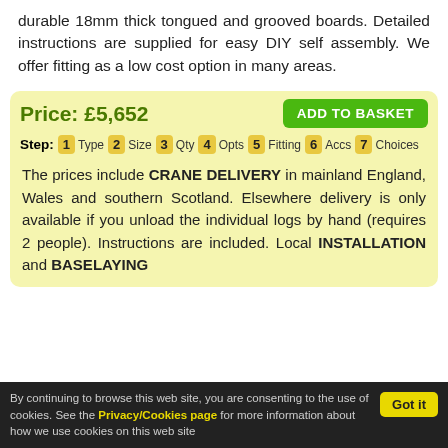durable 18mm thick tongued and grooved boards. Detailed instructions are supplied for easy DIY self assembly. We offer fitting as a low cost option in many areas.
Price: £5,652  ADD TO BASKET
Step: 1 Type 2 Size 3 Qty 4 Opts 5 Fitting 6 Accs 7 Choices
The prices include CRANE DELIVERY in mainland England, Wales and southern Scotland. Elsewhere delivery is only available if you unload the individual logs by hand (requires 2 people). Instructions are included. Local INSTALLATION and BASELAYING
By continuing to browse this web site, you are consenting to the use of cookies. See the Privacy/Cookies page for more information about how we use cookies on this web site